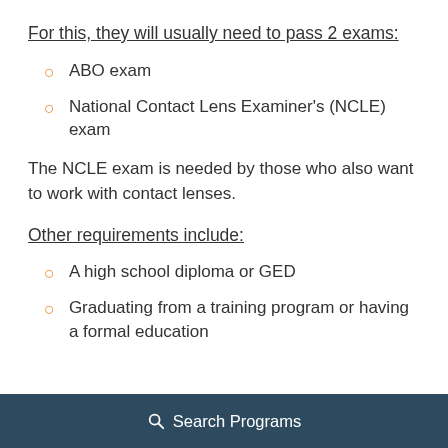For this, they will usually need to pass 2 exams:
ABO exam
National Contact Lens Examiner's (NCLE) exam
The NCLE exam is needed by those who also want to work with contact lenses.
Other requirements include:
A high school diploma or GED
Graduating from a training program or having a formal education
Search Programs